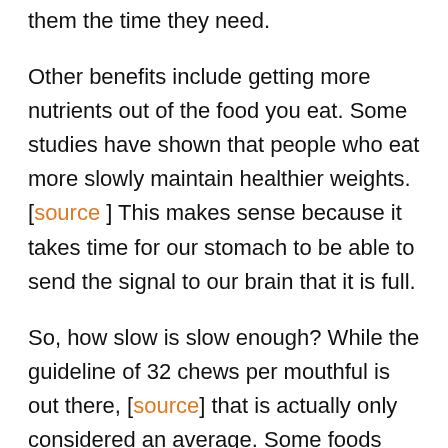them the time they need.
Other benefits include getting more nutrients out of the food you eat. Some studies have shown that people who eat more slowly maintain healthier weights. [source ] This makes sense because it takes time for our stomach to be able to send the signal to our brain that it is full.
So, how slow is slow enough? While the guideline of 32 chews per mouthful is out there, [source] that is actually only considered an average. Some foods may take more (for example, a tough steak!) and some might take less. Overall, you are aiming to remove the texture from the food and to not